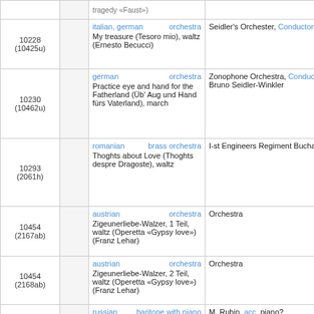| ID |  | Content | Performer |
| --- | --- | --- | --- |
| 10228
(10425u) |  | italian, german | orchestra
My treasure (Tesoro mio), waltz (Ernesto Becucci) | Seidler's Orchester, Conductor Seidler |
| 10230
(10462u) |  | german | orchestra
Practice eye and hand for the Fatherland (Üb' Aug und Hand fürs Vaterland), march | Zonophone Orchestra, Conductor Bruno Seidler-Winkler |
| 10293
(2061h) |  | romanian | brass orchestra
Thoghts about Love (Thoghts despre Dragoste), waltz | I-st Engineers Regiment Bucharest |
| 10454
(2167ab) |  | austrian | orchestra
Zigeunerliebe-Walzer, 1 Teil, waltz (Operetta «Gypsy love») (Franz Lehar) | Orchestra |
| 10454
(2168ab) |  | austrian | orchestra
Zigeunerliebe-Walzer, 2 Teil, waltz (Operetta «Gypsy love») (Franz Lehar) | Orchestra |
| 11000
(1587) |  | russian | baritone with piano
The moon (Луна), romance | M. Rubin, acc. piano? |
| 11001 |  | russian | baritone with piano |  |